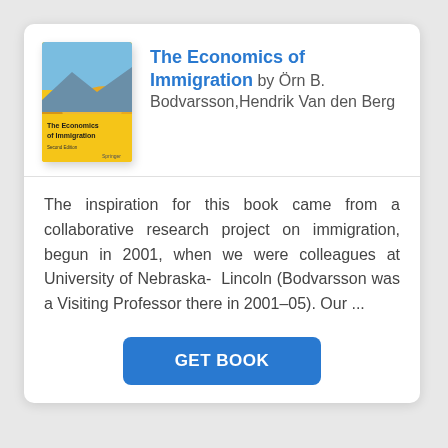[Figure (illustration): Book cover of 'The Economics of Immigration' showing a desert landscape with sand dunes, yellow background with title text.]
The Economics of Immigration by Örn B. Bodvarsson,Hendrik Van den Berg
The inspiration for this book came from a collaborative research project on immigration, begun in 2001, when we were colleagues at University of Nebraska- Lincoln (Bodvarsson was a Visiting Professor there in 2001–05). Our ...
GET BOOK